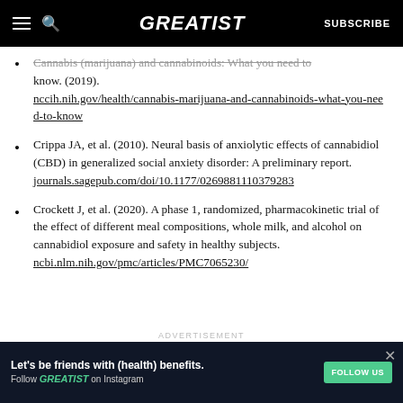GREATIST | SUBSCRIBE
Cannabis (marijuana) and cannabinoids: What you need to know. (2019). nccih.nih.gov/health/cannabis-marijuana-and-cannabinoids-what-you-need-to-know
Crippa JA, et al. (2010). Neural basis of anxiolytic effects of cannabidiol (CBD) in generalized social anxiety disorder: A preliminary report. journals.sagepub.com/doi/10.1177/0269881110379283
Crockett J, et al. (2020). A phase 1, randomized, pharmacokinetic trial of the effect of different meal compositions, whole milk, and alcohol on cannabidiol exposure and safety in healthy subjects. ncbi.nlm.nih.gov/pmc/articles/PMC7065230/
ADVERTISEMENT
[Figure (screenshot): Advertisement banner: Let's be friends with (health) benefits. Follow GREATIST on Instagram. FOLLOW US button.]